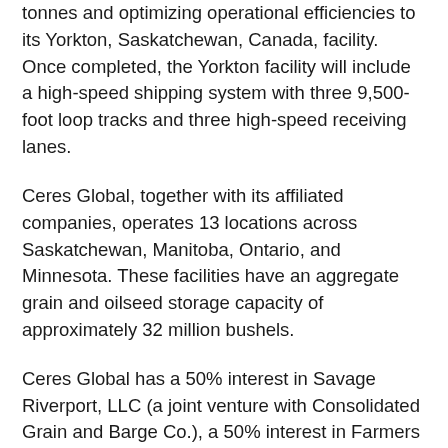tonnes and optimizing operational efficiencies to its Yorkton, Saskatchewan, Canada, facility. Once completed, the Yorkton facility will include a high-speed shipping system with three 9,500-foot loop tracks and three high-speed receiving lanes.
Ceres Global, together with its affiliated companies, operates 13 locations across Saskatchewan, Manitoba, Ontario, and Minnesota. These facilities have an aggregate grain and oilseed storage capacity of approximately 32 million bushels.
Ceres Global has a 50% interest in Savage Riverport, LLC (a joint venture with Consolidated Grain and Barge Co.), a 50% interest in Farmers Grain, LLC (a joint venture with Farmer's Cooperative Grain and Seed Association), a 50% in Gateway Energy Terminal (an unincorporated joint venture with Steel Reef Infrastructure Corp.), a 25% interest in Stewart Southern Railway Inc. (a short-line railway located in southeast Saskatchewan with a range of 130 kilometers), and a 17%